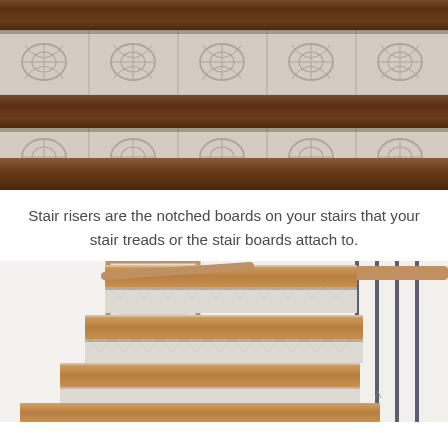[Figure (photo): Close-up photo of wooden stair treads with decorative patterned tile stair risers featuring an ornate scrollwork design in gray/beige tones]
Stair risers are the notched boards on your stairs that your stair treads or the stair boards attach to.
[Figure (photo): Photo of a staircase with light natural wood treads and light gray geometric patterned stair risers, with a metal railing on the right and a wooden door frame visible in the background]